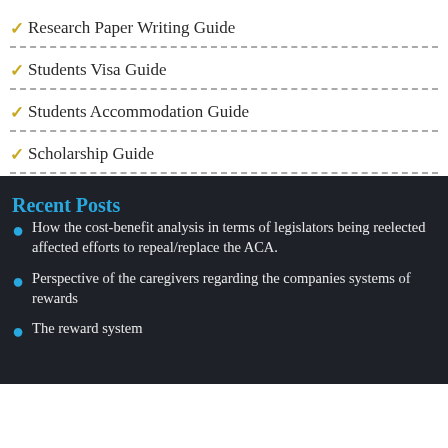Research Paper Writing Guide
Students Visa Guide
Students Accommodation Guide
Scholarship Guide
Recent Posts
How the cost-benefit analysis in terms of legislators being reelected affected efforts to repeal/replace the ACA.
Perspective of the caregivers regarding the companies systems of rewards
The reward system